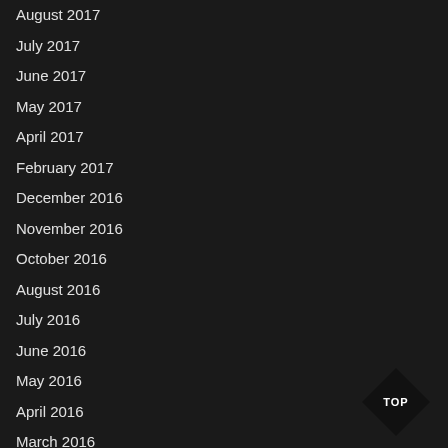August 2017
July 2017
June 2017
May 2017
April 2017
February 2017
December 2016
November 2016
October 2016
August 2016
July 2016
June 2016
May 2016
April 2016
March 2016